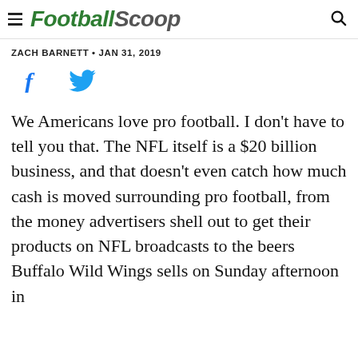FootballScoop
ZACH BARNETT • JAN 31, 2019
[Figure (other): Social share icons: Facebook and Twitter]
We Americans love pro football. I don't have to tell you that. The NFL itself is a $20 billion business, and that doesn't even catch how much cash is moved surrounding pro football, from the money advertisers shell out to get their products on NFL broadcasts to the beers Buffalo Wild Wings sells on Sunday afternoon in